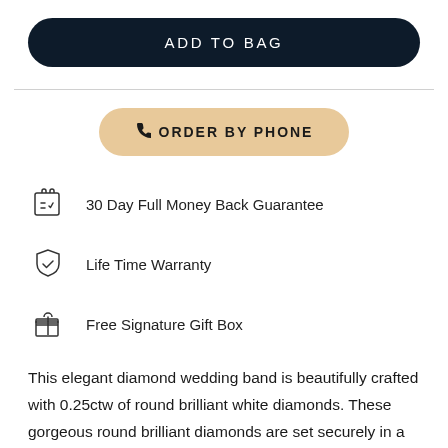ADD TO BAG
ORDER BY PHONE
30 Day Full Money Back Guarantee
Life Time Warranty
Free Signature Gift Box
This elegant diamond wedding band is beautifully crafted with 0.25ctw of round brilliant white diamonds. These gorgeous round brilliant diamonds are set securely in a micro pave setting in a single row along the custom curve of the band. This diamond wedding band sparkles and shines beautifully. This diamond matching